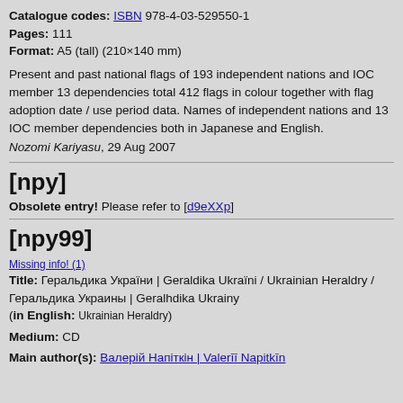Catalogue codes: ISBN 978-4-03-529550-1
Pages: 111
Format: A5 (tall) (210×140 mm)
Present and past national flags of 193 independent nations and IOC member 13 dependencies total 412 flags in colour together with flag adoption date / use period data. Names of independent nations and 13 IOC member dependencies both in Japanese and English. Nozomi Kariyasu, 29 Aug 2007
[npy]
Obsolete entry! Please refer to [d9eXXp]
[npy99]
Missing info! (1)
Title: Геральдика України | Geraldika Ukraïni / Ukrainian Heraldry / Геральдика Украины | Geralhdika Ukrainy (in English: Ukrainian Heraldry)
Medium: CD
Main author(s): Валерій Напіткін | Valerīī Napitkīn